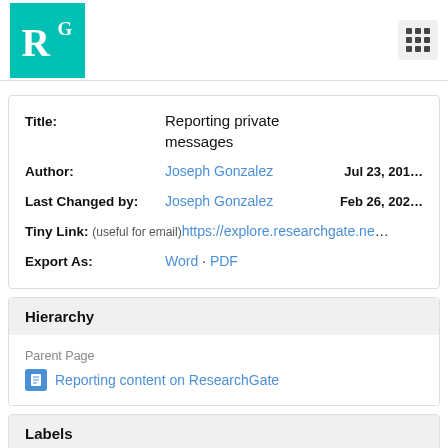ResearchGate logo and navigation
| Field | Value | Date |
| --- | --- | --- |
| Title: | Reporting private messages |  |
| Author: | Joseph Gonzalez | Jul 23, 201… |
| Last Changed by: | Joseph Gonzalez | Feb 26, 202… |
| Tiny Link: (useful for email) | https://explore.researchgate.net/x/2oCZA… |  |
| Export As: | Word · PDF |  |
Hierarchy
Parent Page
Reporting content on ResearchGate
Labels